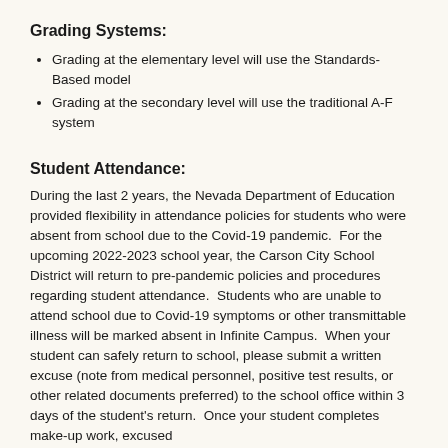Grading Systems:
Grading at the elementary level will use the Standards-Based model
Grading at the secondary level will use the traditional A-F system
Student Attendance:
During the last 2 years, the Nevada Department of Education provided flexibility in attendance policies for students who were absent from school due to the Covid-19 pandemic.  For the upcoming 2022-2023 school year, the Carson City School District will return to pre-pandemic policies and procedures regarding student attendance.  Students who are unable to attend school due to Covid-19 symptoms or other transmittable illness will be marked absent in Infinite Campus.  When your student can safely return to school, please submit a written excuse (note from medical personnel, positive test results, or other related documents preferred) to the school office within 3 days of the student's return.  Once your student completes make-up work, excused